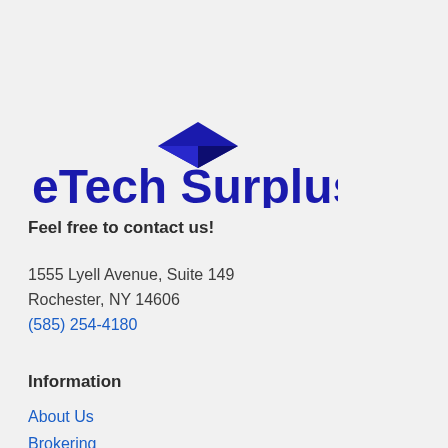[Figure (logo): eTech Surplus logo with blue diamond/arrow shape above the text]
Feel free to contact us!
1555 Lyell Avenue, Suite 149
Rochester, NY 14606
(585) 254-4180
Information
About Us
Brokering